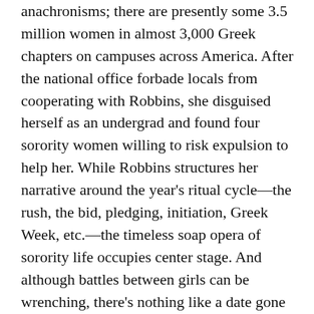anachronisms; there are presently some 3.5 million women in almost 3,000 Greek chapters on campuses across America. After the national office forbade locals from cooperating with Robbins, she disguised herself as an undergrad and found four sorority women willing to risk expulsion to help her. While Robbins structures her narrative around the year's ritual cycle—the rush, the bid, pledging, initiation, Greek Week, etc.—the timeless soap opera of sorority life occupies center stage. And although battles between girls can be wrenching, there's nothing like a date gone wrong to bring out the tears—and the thermos of vodka. Beyond romance, Robbins's informants have their own issues, among them, being black and poor in a rich white [redacted] by a frat b[redacted] an